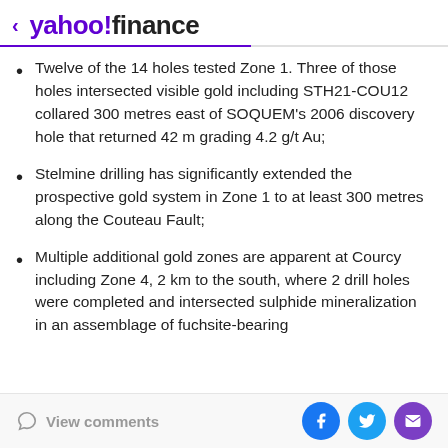< yahoo!finance
Twelve of the 14 holes tested Zone 1. Three of those holes intersected visible gold including STH21-COU12 collared 300 metres east of SOQUEM's 2006 discovery hole that returned 42 m grading 4.2 g/t Au;
Stelmine drilling has significantly extended the prospective gold system in Zone 1 to at least 300 metres along the Couteau Fault;
Multiple additional gold zones are apparent at Courcy including Zone 4, 2 km to the south, where 2 drill holes were completed and intersected sulphide mineralization in an assemblage of fuchsite-bearing
View comments